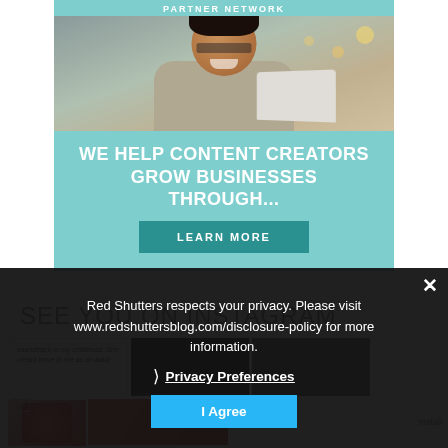PARTNER NETWORK
[Figure (photo): Smiling woman with glasses working on a laptop in a cafe setting]
WE HELP CONTENT CREATORS GROW BUSINESSES THROUGH...
LEARN MORE
SEE YOU ON INSTAGRAM
[Figure (photo): Instagram thumbnail grid with text post about childhood soundtrack and other image thumbnails]
Red Shutters respects your privacy. Please visit www.redshuttersblog.com/disclosure-policy for more information.
❯ Privacy Preferences
I Agree
Ad
Simulator